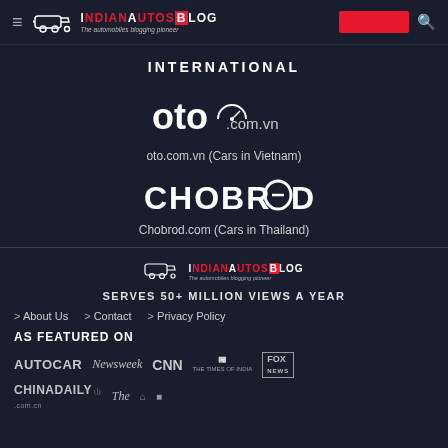IndianAutosBlog — The automobiles blogging pioneer
INTERNATIONAL
[Figure (logo): oto.com.vn logo]
oto.com.vn (Cars in Vietnam)
[Figure (logo): CHOBROD logo]
Chobrod.com (Cars in Thailand)
IndianAutosBlog — The automobiles blogging pioneer — SERVES 50+ MILLION VIEWS A YEAR
> About Us
> Contact
> Privacy Policy
AS FEATURED ON
[Figure (logo): Media logos: AUTOCAR, Newsweek, CNN, The Times of India, FOX NEWS, CHINADAILY, The]